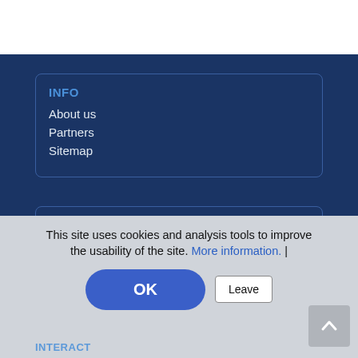INFO
About us
Partners
Sitemap
COMMUNICATE
Advertising
Post a job
This site uses cookies and analysis tools to improve the usability of the site. More information. |
OK
Leave
INTERACT